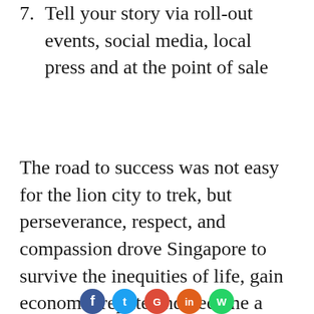7.  Tell your story via roll-out events, social media, local press and at the point of sale
The road to success was not easy for the lion city to trek, but perseverance, respect, and compassion drove Singapore to survive the inequities of life, gain economic repute and become a global brand.
[Figure (other): Row of social media icon circles partially visible at bottom of page: Facebook (blue), Twitter (light blue), Google/YouTube (red), a red-orange icon, and WhatsApp (green)]